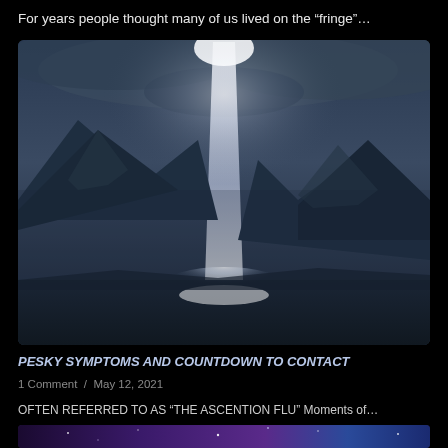For years people thought many of us lived on the “fringe”…
[Figure (photo): A dramatic landscape photo showing a bright beam of light descending from clouds onto a mountain lake, with dark rocky mountains in the background and reflective water in the foreground.]
PESKY SYMPTOMS AND COUNTDOWN TO CONTACT
1 Comment / May 12, 2021
OFTEN REFERRED TO AS “THE ASCENTION FLU” Moments of…
[Figure (photo): Partial view of a space/galaxy themed image with purple and blue cosmic colors at the bottom of the page.]